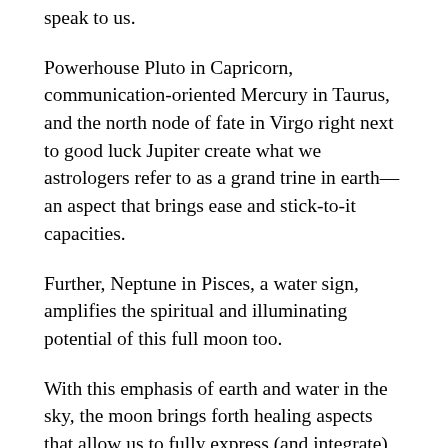speak to us.
Powerhouse Pluto in Capricorn, communication-oriented Mercury in Taurus, and the north node of fate in Virgo right next to good luck Jupiter create what we astrologers refer to as a grand trine in earth—an aspect that brings ease and stick-to-it capacities.
Further, Neptune in Pisces, a water sign, amplifies the spiritual and illuminating potential of this full moon too.
With this emphasis of earth and water in the sky, the moon brings forth healing aspects that allow us to fully express (and integrate) our mystical sensibilities.
When we look at the ruling planets of Scorpio—Mars and Pluto— we see other influences to take